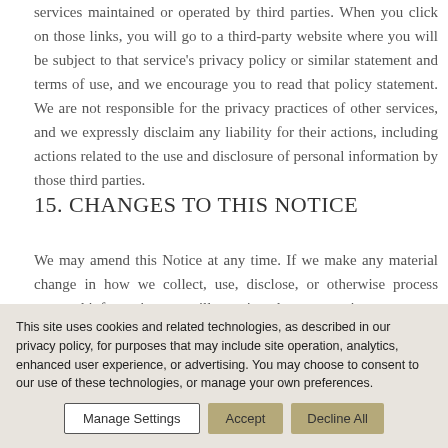services maintained or operated by third parties. When you click on those links, you will go to a third-party website where you will be subject to that service's privacy policy or similar statement and terms of use, and we encourage you to read that policy statement. We are not responsible for the privacy practices of other services, and we expressly disclaim any liability for their actions, including actions related to the use and disclosure of personal information by those third parties.
15. CHANGES TO THIS NOTICE
We may amend this Notice at any time. If we make any material change in how we collect, use, disclose, or otherwise process personal information, we will prominently post a notice
This site uses cookies and related technologies, as described in our privacy policy, for purposes that may include site operation, analytics, enhanced user experience, or advertising. You may choose to consent to our use of these technologies, or manage your own preferences.